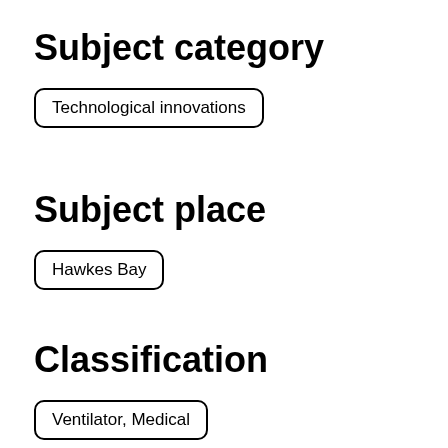Subject category
Technological innovations
Subject place
Hawkes Bay
Classification
Ventilator, Medical